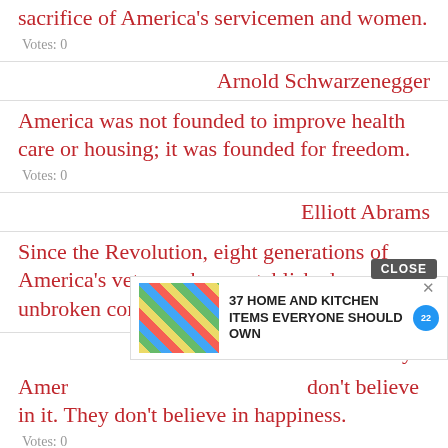sacrifice of America's servicemen and women.
Votes: 0
Arnold Schwarzenegger
America was not founded to improve health care or housing; it was founded for freedom.
Votes: 0
Elliott Abrams
Since the Revolution, eight generations of America's veterans have established an unbroken commitment to freedom.
Votes: 0
Steve Buyer
[Figure (screenshot): Advertisement overlay: '37 HOME AND KITCHEN ITEMS EVERYONE SHOULD OWN' with close button]
Amer... don't believe in it. They don't believe in happiness.
Votes: 0